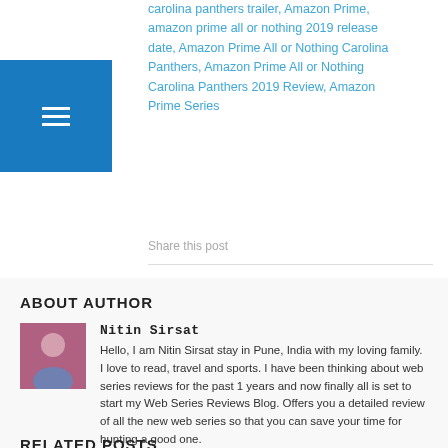carolina panthers trailer, Amazon Prime, amazon prime all or nothing 2019 release date, Amazon Prime All or Nothing Carolina Panthers, Amazon Prime All or Nothing Carolina Panthers 2019 Review, Amazon Prime Series
Share this post
ABOUT AUTHOR
[Figure (photo): Headshot photo of Nitin Sirsat]
Nitin Sirsat
Hello, I am Nitin Sirsat stay in Pune, India with my loving family. I love to read, travel and sports. I have been thinking about web series reviews for the past 1 years and now finally all is set to start my Web Series Reviews Blog. Offers you a detailed review of all the new web series so that you can save your time for hunting a good one.
[Figure (other): Social media icons: Facebook, Twitter, LinkedIn, Pinterest, YouTube, RSS]
RELATED POSTS